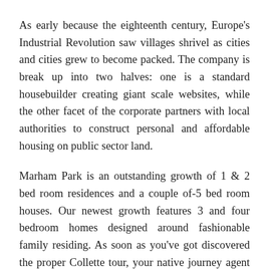As early because the eighteenth century, Europe's Industrial Revolution saw villages shrivel as cities and cities grew to become packed. The company is break up into two halves: one is a standard housebuilder creating giant scale websites, while the other facet of the corporate partners with local authorities to construct personal and affordable housing on public sector land.
Marham Park is an outstanding growth of 1 & 2 bed room residences and a couple of-5 bed room houses. Our newest growth features 3 and four bedroom homes designed around fashionable family residing. As soon as you've got discovered the proper Collette tour, your native journey agent can assist you in making reservations. The houses are constructed within the arts and crafts type and